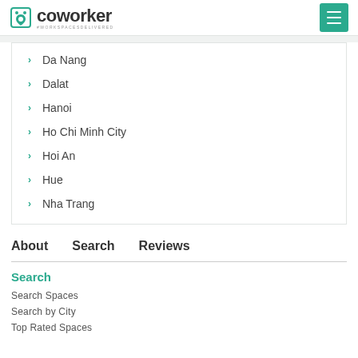coworker #WORKSPACESDELIVERED
Da Nang
Dalat
Hanoi
Ho Chi Minh City
Hoi An
Hue
Nha Trang
About   Search   Reviews
Search
Search Spaces
Search by City
Top Rated Spaces